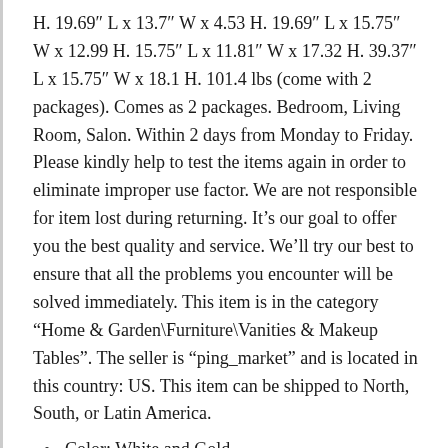H. 19.69" L x 13.7" W x 4.53 H. 19.69" L x 15.75" W x 12.99 H. 15.75" L x 11.81" W x 17.32 H. 39.37" L x 15.75" W x 18.1 H. 101.4 lbs (come with 2 packages). Comes as 2 packages. Bedroom, Living Room, Salon. Within 2 days from Monday to Friday. Please kindly help to test the items again in order to eliminate improper use factor. We are not responsible for item lost during returning. It’s our goal to offer you the best quality and service. We’ll try our best to ensure that all the problems you encounter will be solved immediately. This item is in the category “Home & Garden\Furniture\Vanities & Makeup Tables”. The seller is “ping_market” and is located in this country: US. This item can be shipped to North, South, or Latin America.
Color: White and Gold
Material: MDF Board & Metal